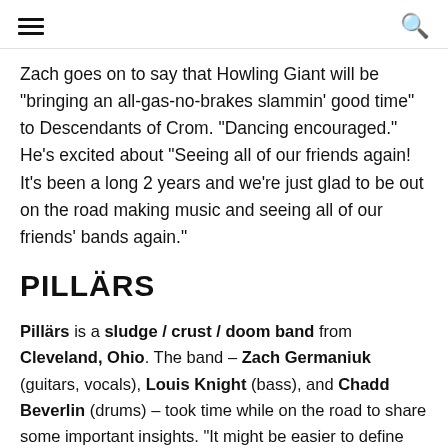☰ [menu icon] | [search icon]
Zach goes on to say that Howling Giant will be "bringing an all-gas-no-brakes slammin' good time" to Descendants of Crom. "Dancing encouraged." He's excited about "Seeing all of our friends again! It's been a long 2 years and we're just glad to be out on the road making music and seeing all of our friends' bands again."
PILLÄRS
Pillärs is a sludge / crust / doom band from Cleveland, Ohio. The band – Zach Germaniuk (guitars, vocals), Louis Knight (bass), and Chadd Beverlin (drums) – took time while on the road to share some important insights. "It might be easier to define 'heavy music' by what it isn't